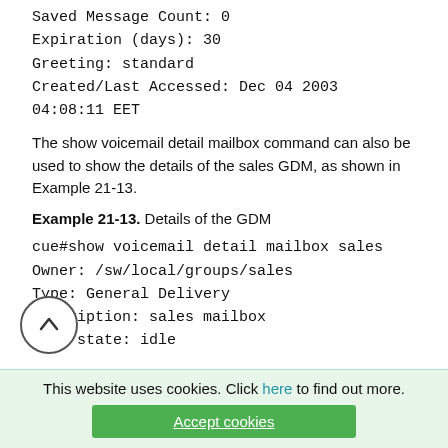Saved Message Count: 0
Expiration (days): 30
Greeting: standard
Created/Last Accessed: Dec 04 2003
04:08:11 EET
The show voicemail detail mailbox command can also be used to show the details of the sales GDM, as shown in Example 21-13.
Example 21-13. Details of the GDM
cue#show voicemail detail mailbox sales
Owner: /sw/local/groups/sales
Type: General Delivery
Description: sales mailbox
Busy state: idle
Message Size (seconds): 60